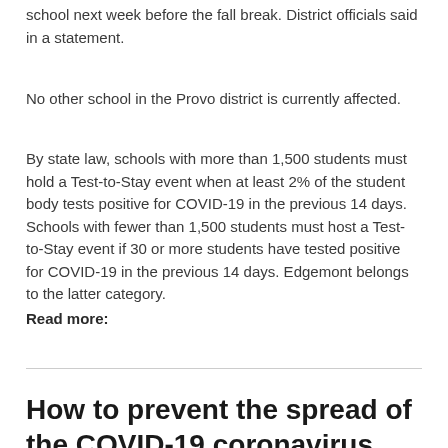school next week before the fall break. District officials said in a statement.
No other school in the Provo district is currently affected.
By state law, schools with more than 1,500 students must hold a Test-to-Stay event when at least 2% of the student body tests positive for COVID-19 in the previous 14 days. Schools with fewer than 1,500 students must host a Test-to-Stay event if 30 or more students have tested positive for COVID-19 in the previous 14 days. Edgemont belongs to the latter category.
Read more:
How to prevent the spread of the COVID-19 coronavirus